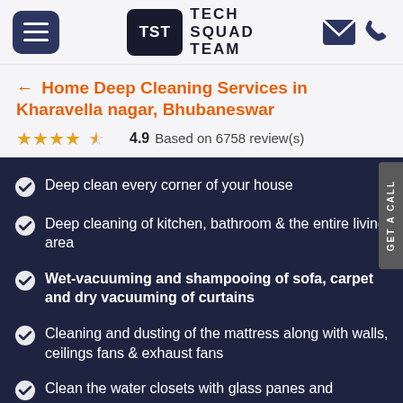Tech Squad Team
← Home Deep Cleaning Services in Kharavella nagar, Bhubaneswar
★★★★½ 4.9 Based on 6758 review(s)
Deep clean every corner of your house
Deep cleaning of kitchen, bathroom & the entire living area
Wet-vacuuming and shampooing of sofa, carpet and dry vacuuming of curtains
Cleaning and dusting of the mattress along with walls, ceilings fans & exhaust fans
Clean the water closets with glass panes and